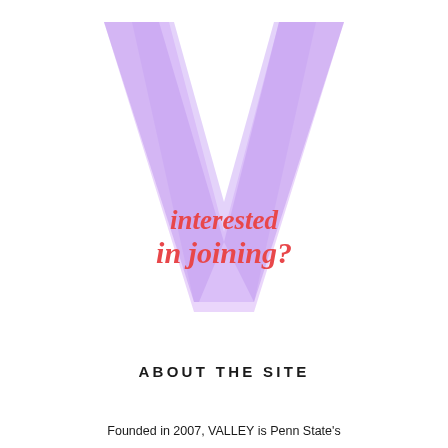[Figure (logo): Large light purple/lavender letter V shape serving as background logo graphic]
interested in joining?
ABOUT THE SITE
Founded in 2007, VALLEY is Penn State's